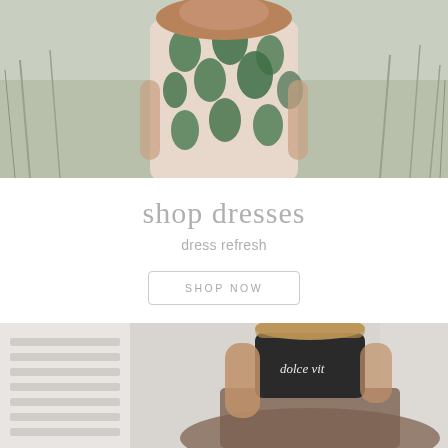[Figure (photo): Woman wearing a green and pink floral patterned dress with a wide-brimmed hat, standing among tall grass outdoors.]
shop dresses
dress refresh
SHOP NOW
[Figure (photo): Woman wearing a black 'dolce vita' t-shirt and a brown tulle skirt, standing near white shuttered windows.]